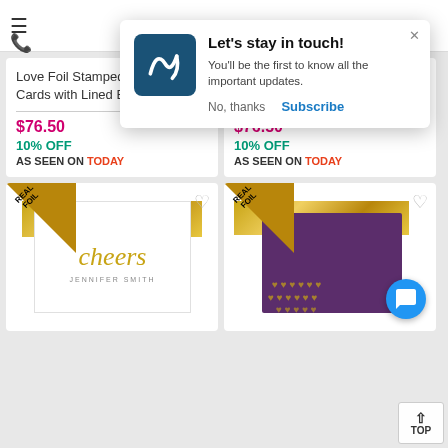[Figure (screenshot): Website screenshot showing a notification popup overlay on a stationery/cards e-commerce page. Popup reads 'Let's stay in touch! You'll be the first to know all the important updates.' with 'No, thanks' and 'Subscribe' buttons. Behind the popup are product cards for 'Love Foil Stamped Folded Note Cards with Lined Envelopes' and 'Hello Foil Stamped Folded Note Cards with Lined Envelopes', both priced at $76.50 with 10% OFF and AS SEEN ON TODAY labels. Below are two more product cards showing foil card designs - a 'cheers' card and a purple heart card.]